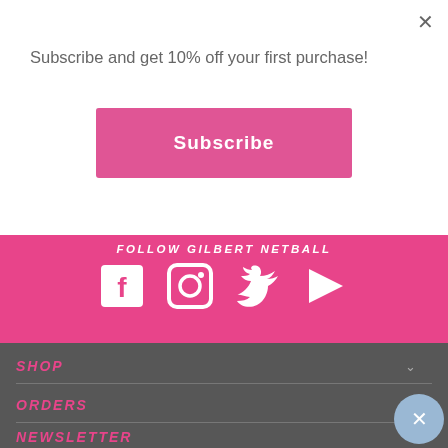Subscribe and get 10% off your first purchase!
[Figure (screenshot): Pink Subscribe button]
[Figure (infographic): FOLLOW GILBERT NETBALL pink bar with Facebook, Instagram, Twitter, and YouTube social media icons in white]
SHOP
ORDERS
NEWSLETTER
BE THE FIRST TO KNOW ABOUT NEW SEASONS, PRODUCTS, TECHNO... OUR GENEROUS COMPETITIONS.